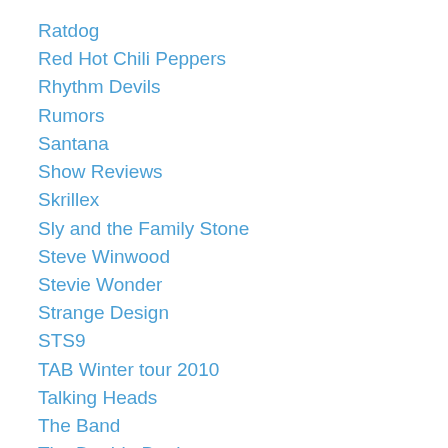Ratdog
Red Hot Chili Peppers
Rhythm Devils
Rumors
Santana
Show Reviews
Skrillex
Sly and the Family Stone
Steve Winwood
Stevie Wonder
Strange Design
STS9
TAB Winter tour 2010
Talking Heads
The Band
The Doobie Brothers
The John K. Band
Today in GD History
Traffic
Troy Anastasio